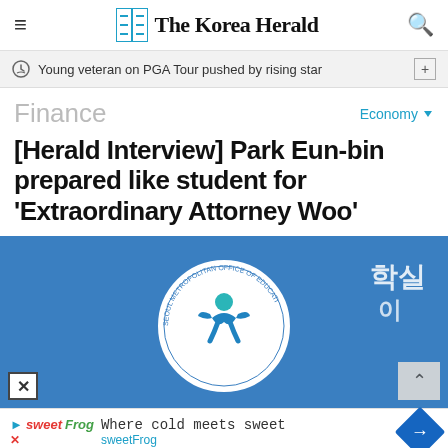The Korea Herald
Young veteran on PGA Tour pushed by rising star
Finance
Economy
[Herald Interview] Park Eun-bin prepared like student for 'Extraordinary Attorney Woo'
[Figure (photo): Blue background with Seoul Metropolitan Office of Education circular seal/logo and Korean text on the right]
Where cold meets sweet
sweetFrog